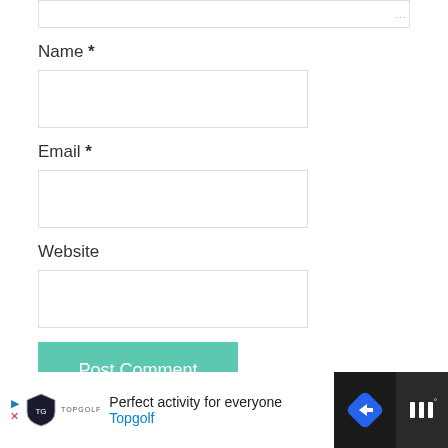[Figure (screenshot): Partial textarea input box at top of form]
Name *
[Figure (screenshot): Name input field (empty text box)]
Email *
[Figure (screenshot): Email input field (empty text box)]
Website
[Figure (screenshot): Website input field (empty text box)]
[Figure (screenshot): Post Comment button in teal/mint color]
[Figure (screenshot): Advertisement banner at bottom: Topgolf - Perfect activity for everyone, with navigation arrow icon and Waze-like icon on right]